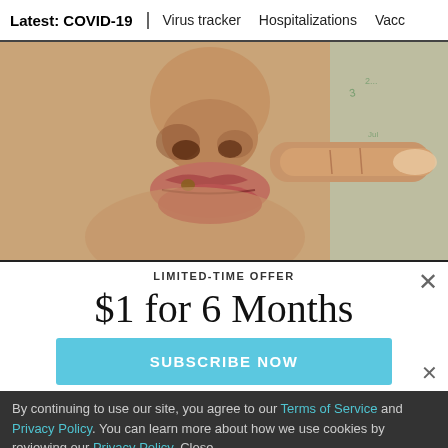Latest: COVID-19 | Virus tracker | Hospitalizations | Vacc
[Figure (photo): Close-up photo of a person's face showing nose and lips area, with a finger touching near the upper lip. A small lesion or mark is visible on/near the upper lip. Background shows a blurred surface with some writing.]
LIMITED-TIME OFFER
$1 for 6 Months
SUBSCRIBE NOW
By continuing to use our site, you agree to our Terms of Service and Privacy Policy. You can learn more about how we use cookies by reviewing our Privacy Policy.  Close